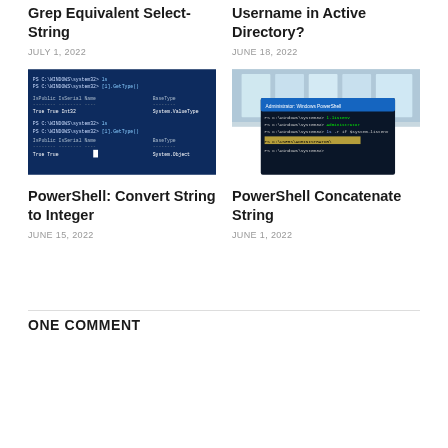Grep Equivalent Select-String
JULY 1, 2022
Username in Active Directory?
JUNE 18, 2022
[Figure (screenshot): PowerShell terminal window showing dark blue background with command output displaying IsPublic, IsSerial, Name, BaseType columns]
PowerShell: Convert String to Integer
JUNE 15, 2022
[Figure (screenshot): Windows PowerShell terminal with blue title bar showing commands with green and yellow highlighted text]
PowerShell Concatenate String
JUNE 1, 2022
ONE COMMENT